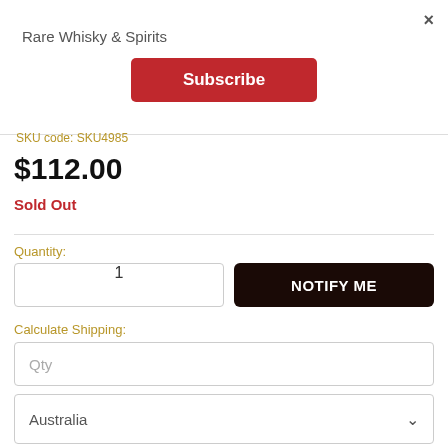×
Rare Whisky & Spirits
Subscribe
SKU code: SKU4985
$112.00
Sold Out
Quantity:
1
NOTIFY ME
Calculate Shipping:
Qty
Australia